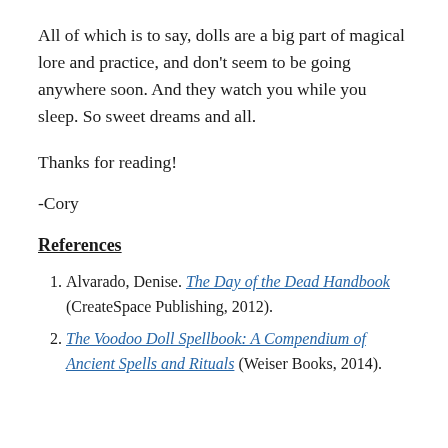All of which is to say, dolls are a big part of magical lore and practice, and don't seem to be going anywhere soon. And they watch you while you sleep. So sweet dreams and all.
Thanks for reading!
-Cory
References
Alvarado, Denise. The Day of the Dead Handbook (CreateSpace Publishing, 2012).
The Voodoo Doll Spellbook: A Compendium of Ancient Spells and Rituals (Weiser Books, 2014).